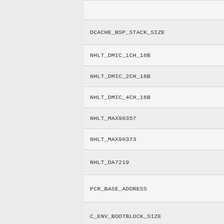DCACHE_BSP_STACK_SIZE
NHLT_DMIC_1CH_16B
NHLT_DMIC_2CH_16B
NHLT_DMIC_4CH_16B
NHLT_MAX98357
NHLT_MAX98373
NHLT_DA7219
PCR_BASE_ADDRESS
C_ENV_BOOTBLOCK_SIZE
USE_CANNONLAKE_CAR_NEM_ENHANCED